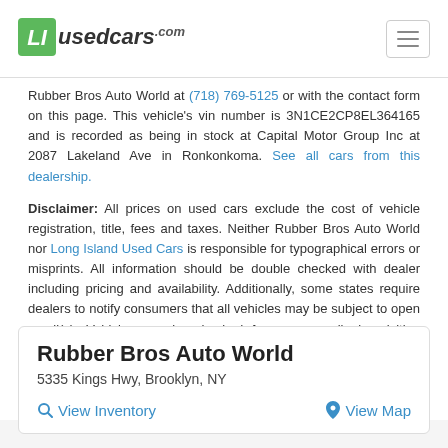LI usedcars.com
Rubber Bros Auto World at (718) 769-5125 or with the contact form on this page. This vehicle's vin number is 3N1CE2CP8EL364165 and is recorded as being in stock at Capital Motor Group Inc at 2087 Lakeland Ave in Ronkonkoma. See all cars from this dealership.
Disclaimer: All prices on used cars exclude the cost of vehicle registration, title, fees and taxes. Neither Rubber Bros Auto World nor Long Island Used Cars is responsible for typographical errors or misprints. All information should be double checked with dealer including pricing and availability. Additionally, some states require dealers to notify consumers that all vehicles may be subject to open recall(s). Vehicles can be checked for open recalls by visiting www.SaferCar.gov or www.nhtsa.gov/recalls. Vehicles are subject to prior sale and may no longer be available. Please check with the seller for more information. You can check for recall status with this RECALL STATUS LINK.
Rubber Bros Auto World
5335 Kings Hwy, Brooklyn, NY
View Inventory | View Map